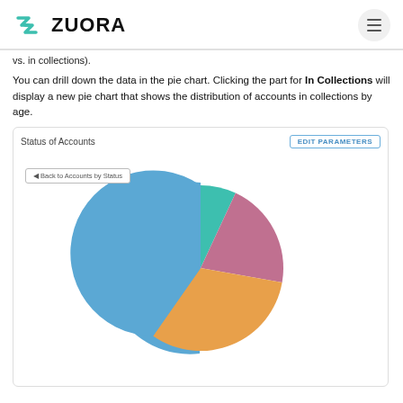ZUORA
vs. in collections).
You can drill down the data in the pie chart. Clicking the part for In Collections will display a new pie chart that shows the distribution of accounts in collections by age.
[Figure (screenshot): Screenshot of Zuora 'Status of Accounts' dashboard widget showing a pie chart with slices in blue (large), orange (large), pink/rose (medium), and teal/green (small). A 'Back to Accounts by Status' button appears at top-left of the chart area. An 'EDIT PARAMETERS' button appears at top-right of the widget header.]